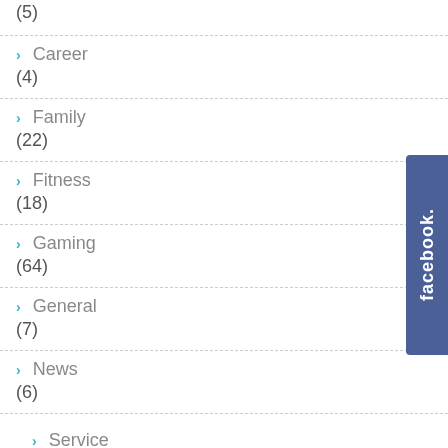Automotive (5)
Career (4)
Family (22)
Fitness (18)
Gaming (64)
General (7)
News (6)
Service